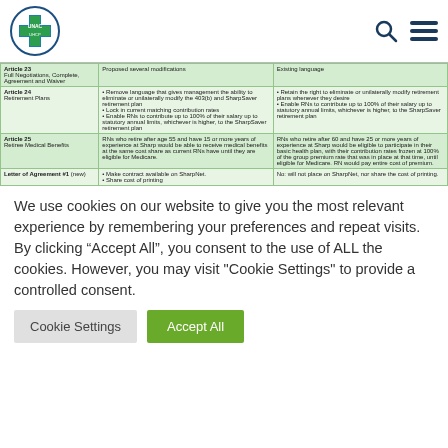UNAC header with logo, search icon, and menu icon
|  | Proposed several modifications | Existing language |
| --- | --- | --- |
| Article 23
Full Negotiations, Complete, Agreement and Waiver | Proposed several modifications | Existing language |
| Article 24
Retirement Plans | • Remove language that gives management the ability to eliminate or unilaterally modify the 403(b) and SharpSaver retirement plan
• Lock in current matching contribution rates
• Enable RNs to contribute up to 100% of their salary up to statutory annual limits, whichever is higher, to the SharpSaver retirement plan | • Retain the right to eliminate or unilaterally modify retirement plans whenever they desire
• Enable RNs to contribute up to 100% of their salary up to statutory annual limits, whichever is higher, to the SharpSaver retirement plan |
| Article 25
Retiree Medical Benefits | RNs who retire after age 55 and have 15 or more years of experience at Sharp would be able to receive medical benefits at the same cost share as current RNs have until they are eligible for Medicare. | RNs who retire after 60 and have 25 or more years of experience at Sharp would be eligible to participate in their basic health plan, with their contribution rates frozen at 100% of the group premium rate that was in place at that time, until eligible for Medicare. RN would pay entire cost of premium. |
| Letter of Agreement #1 (new) | • Make contract available on SharpNet.
• Share cost of printing | No: will not place on SharpNet, nor share the cost of printing. |
We use cookies on our website to give you the most relevant experience by remembering your preferences and repeat visits. By clicking “Accept All”, you consent to the use of ALL the cookies. However, you may visit "Cookie Settings" to provide a controlled consent.
Cookie Settings
Accept All